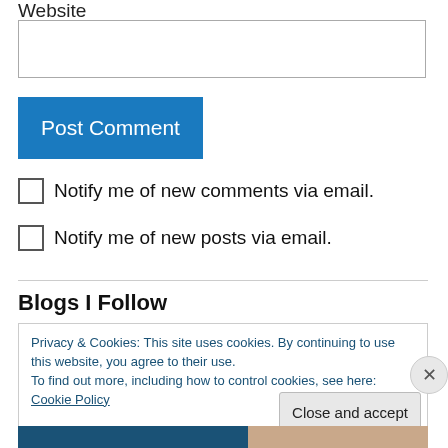Website
Post Comment
Notify me of new comments via email.
Notify me of new posts via email.
Blogs I Follow
Privacy & Cookies: This site uses cookies. By continuing to use this website, you agree to their use.
To find out more, including how to control cookies, see here: Cookie Policy
Close and accept